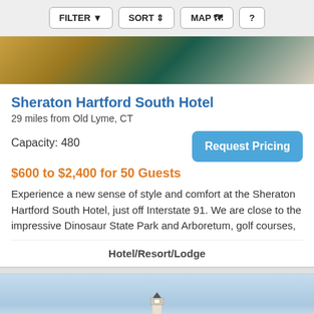FILTER  SORT  MAP  ?
[Figure (photo): Hotel interior image showing chairs with teal/green fabric and golden patterned carpet]
Sheraton Hartford South Hotel
29 miles from Old Lyme, CT
Capacity: 480
Request Pricing
$600 to $2,400 for 50 Guests
Experience a new sense of style and comfort at the Sheraton Hartford South Hotel, just off Interstate 91. We are close to the impressive Dinosaur State Park and Arboretum, golf courses,
Hotel/Resort/Lodge
[Figure (photo): Outdoor venue image with blue sky and lighthouse silhouette]